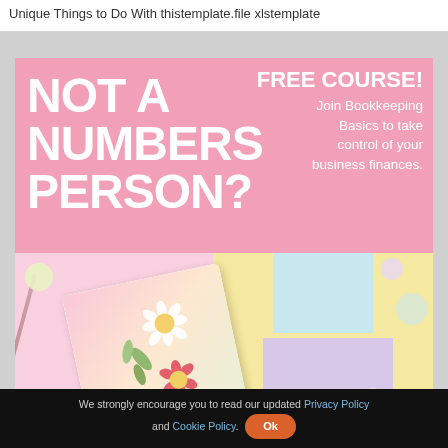Unique Things to Do With thistemplate.file xlstemplate
[Figure (infographic): Pink banner ad: NOT A NUMBERS PERSON? FREE COURSE! Join Bookkeeping Basics to take control of your business finances. Below: photo of a floral illustrated book/planner on pastel colored paper backgrounds with confetti circles.]
We strongly encourage you to read our updated Privacy Policy and Cookie Policy. Ok